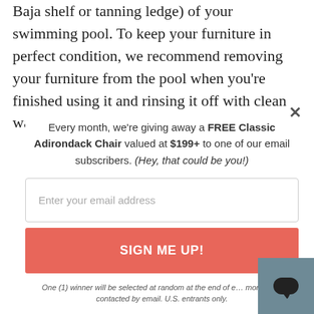Baja shelf or tanning ledge) of your swimming pool. To keep your furniture in perfect condition, we recommend removing your furniture from the pool when you're finished using it and rinsing it off with clean water to
Every month, we're giving away a FREE Classic Adirondack Chair valued at $199+ to one of our email subscribers. (Hey, that could be you!)
Enter your email address
SIGN ME UP!
One (1) winner will be selected at random at the end of each month and contacted by email. U.S. entrants only.